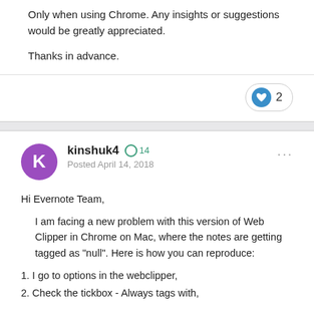Only when using Chrome.  Any insights or suggestions would be greatly appreciated.
Thanks in advance.
kinshuk4  +14
Posted April 14, 2018
Hi Evernote Team,

    I am facing a new problem with this version of Web Clipper in Chrome on Mac, where the notes are getting tagged as "null". Here is how you can reproduce:
1. I go to options in the webclipper,
2. Check the tickbox - Always tags with,